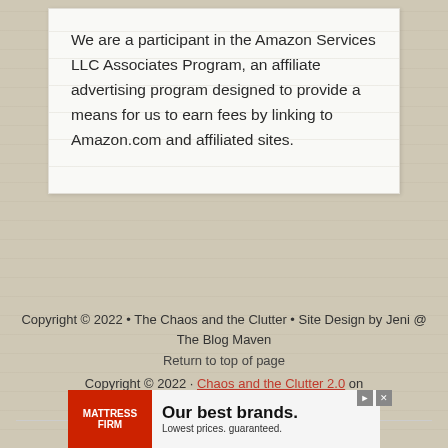We are a participant in the Amazon Services LLC Associates Program, an affiliate advertising program designed to provide a means for us to earn fees by linking to Amazon.com and affiliated sites.
Copyright © 2022 • The Chaos and the Clutter • Site Design by Jeni @ The Blog Maven
Return to top of page
Copyright © 2022 · Chaos and the Clutter 2.0 on Genesis Framework · WordPress · Log in
AN ELITE CAFEMEDIA FAMILY & PARENTING PUBLISHER
[Figure (other): Mattress Firm advertisement banner: red background on left with 'MATTRESS FIRM' logo in white, white area on right with text 'Our best brands.' and 'Lowest prices. guaranteed.']